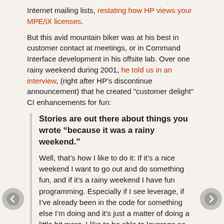Internet mailing lists, restating how HP views your MPE/iX licenses.
But this avid mountain biker was at his best in customer contact at meetings, or in Command Interface development in his offsite lab. Over one rainy weekend during 2001, he told us in an interview, (right after HP's discontinue announcement) that he created "customer delight" CI enhancements for fun:
Stories are out there about things you wrote “because it was a rainy weekend.”
Well, that’s how I like to do it: If it’s a nice weekend I want to go out and do something fun, and if it’s a rainy weekend I have fun programming. Especially if I see leverage, if I’ve already been in the code for something else I’m doing and it’s just a matter of doing a little bit more. I like to be able to leverage as much work as I can into a patch, so there’s less administration when those changes...